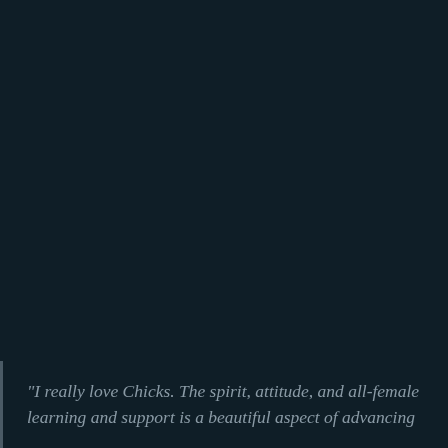"I really love Chicks. The spirit, attitude, and all-female learning and support is a beautiful aspect of advancing